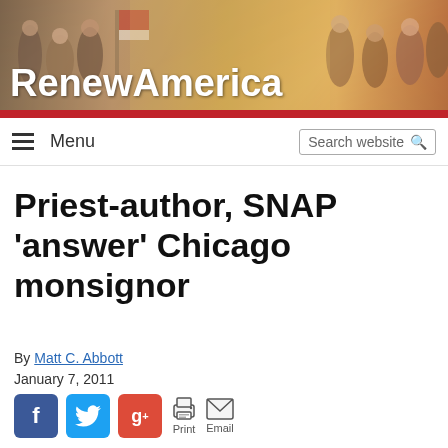[Figure (illustration): RenewAmerica website header banner with historical painting of American founding scene and site title 'RenewAmerica' in white bold text]
Menu  Search website
Priest-author, SNAP 'answer' Chicago monsignor
By Matt C. Abbott
January 7, 2011
[Figure (infographic): Social sharing buttons: Facebook (blue), Twitter (blue bird), Google+ (red), Print, Email]
In a recent bulletin, Monsignor Dan Mayall, pastor of Chicago's Holy Name Cathedral, wrote the following (excerpted; emphasis mine):